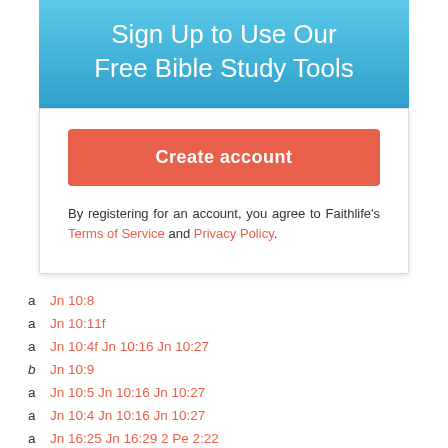Sign Up to Use Our Free Bible Study Tools
Create account
By registering for an account, you agree to Faithlife's Terms of Service and Privacy Policy.
a  Jn 10:8
a  Jn 10:11f
a  Jn 10:4f Jn 10:16 Jn 10:27
b  Jn 10:9
a  Jn 10:5 Jn 10:16 Jn 10:27
a  Jn 10:4 Jn 10:16 Jn 10:27
a  Jn 16:25 Jn 16:29 2 Pe 2:22
a  Jn 10:1f Jn 10:9
a  Je 23:1f Eze 34:2ff Jn 10:1